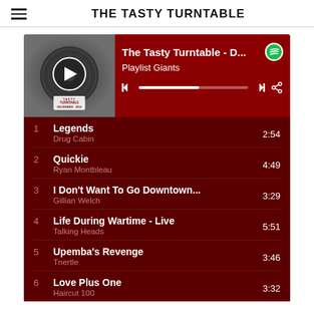THE TASTY TURNTABLE
[Figure (screenshot): Spotify playlist widget showing 'The Tasty Turntable - D...' playlist by Playlist Giants with album art, playback controls, and a tracklist on a dark red background]
1  Legends  2:54
Drug Cabin
2  Quickie  4:49
Ryan Montbleau
3  I Don't Want To Go Downtown...  3:29
Gillian Welch
4  Life During Wartime - Live  5:51
Talking Heads
5  Upemba's Revenge  3:46
Tnertle
6  Love Plus One  3:32
Haircut 100